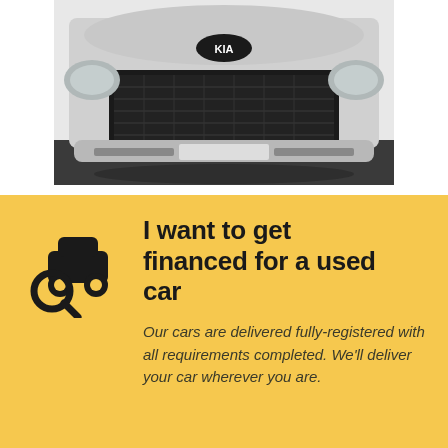[Figure (photo): Close-up front view of a silver Kia car showing the grille, headlights, and front bumper, photographed outdoors.]
I want to get financed for a used car
Our cars are delivered fully-registered with all requirements completed. We'll deliver your car wherever you are.